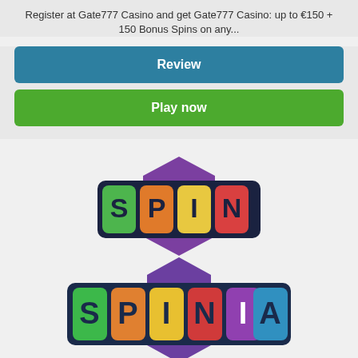Register at Gate777 Casino and get Gate777 Casino: up to €150 + 150 Bonus Spins on any...
Review
Play now
[Figure (logo): Spinia Casino logo with colorful letter tiles spelling SPINIA on dark background with purple hexagon accent]
[Figure (infographic): 3 filled blue star circles and 2 empty blue star circles rating]
Spinia Casino: 100% up to €/$100 + 25 Spins on Hotline...
Register at Spinia Casino and get Spinia Casino: 100% up to €/$100 + 25 Spins on Hotline...